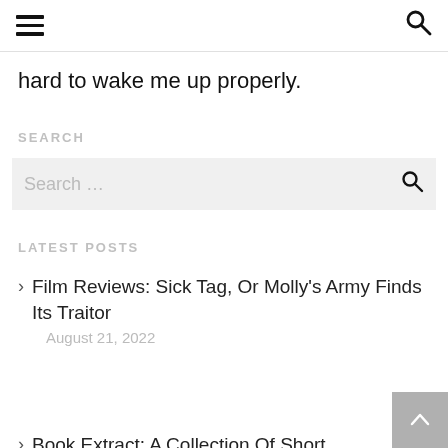≡  🔍
hard to wake me up properly.
SEARCH
Search ...
LATEST POSTS
Film Reviews: Sick Tag, Or Molly's Army Finds Its Traitor
August 21, 2022
Book Extract: A Collection Of Short